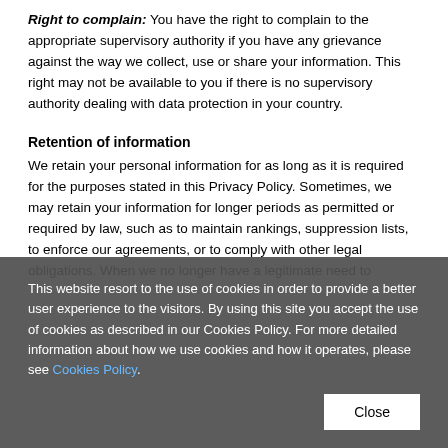Right to complain: You have the right to complain to the appropriate supervisory authority if you have any grievance against the way we collect, use or share your information. This right may not be available to you if there is no supervisory authority dealing with data protection in your country.
Retention of information
We retain your personal information for as long as it is required for the purposes stated in this Privacy Policy. Sometimes, we may retain your information for longer periods as permitted or required by law, such as to maintain rankings, suppression lists, to enforce our agreements, or to comply with other legal obligations. When we no longer have a legitimate need to
This website resort to the use of cookies in order to provide a better user experience to the visitors. By using this site you accept the use of cookies as described in our Cookies Policy. For more detailed information about how we use cookies and how it operates, please see Cookies Policy.